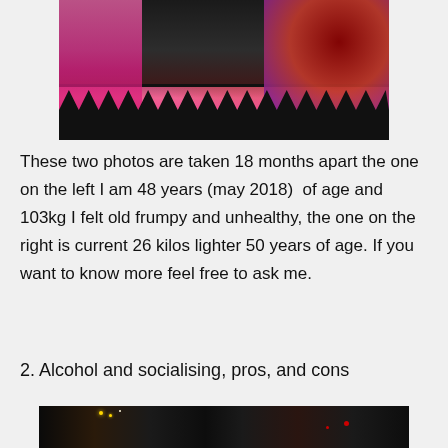[Figure (photo): Partial photo of a person wearing a dark navy/black lace top over a pink floral outfit, with a red floral wallpaper background visible on the right side. Only the torso/lower body area is visible, cropped at top.]
These two photos are taken 18 months apart the one on the left I am 48 years (may 2018)  of age and 103kg I felt old frumpy and unhealthy, the one on the right is current 26 kilos lighter 50 years of age. If you want to know more feel free to ask me.
2. Alcohol and socialising, pros, and cons
[Figure (photo): Bottom portion of a dark photo, appears to show people in a low-light social setting.]